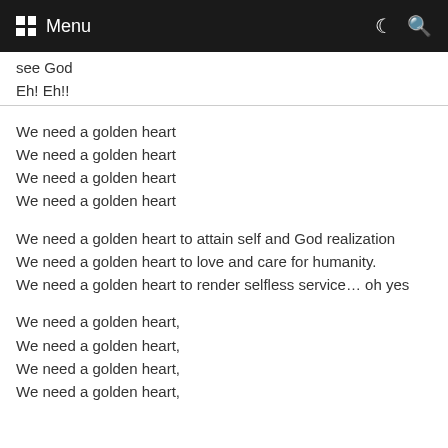Menu
see God
Eh! Eh!!
We need a golden heart
We need a golden heart
We need a golden heart
We need a golden heart
We need a golden heart to attain self and God realization
We need a golden heart to love and care for humanity.
We need a golden heart to render selfless service… oh yes
We need a golden heart,
We need a golden heart,
We need a golden heart,
We need a golden heart,